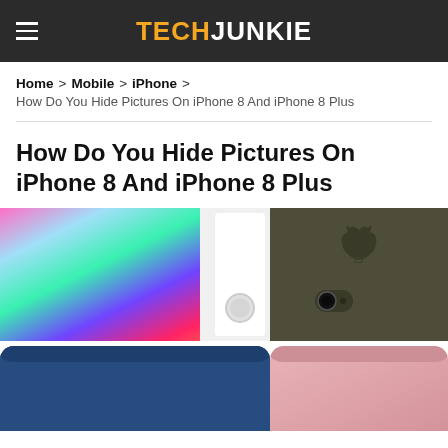TECHJUNKIE
Home > Mobile > iPhone > How Do You Hide Pictures On iPhone 8 And iPhone 8 Plus
How Do You Hide Pictures On iPhone 8 And iPhone 8 Plus
[Figure (photo): Collage of four iPhone 8 and iPhone 8 Plus images showing device in various colors including white with colorful screen, dark olive/khaki case, navy blue case, and rose gold/pink.]